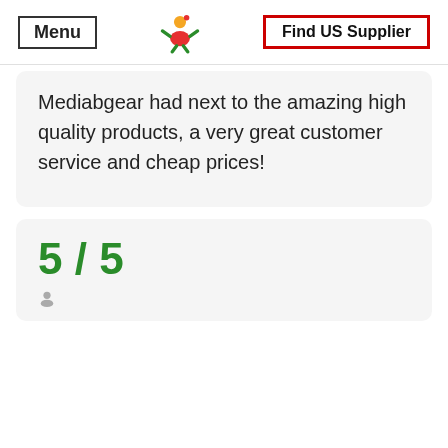Menu | Find US Supplier
Mediabgear had next to the amazing high quality products, a very great customer service and cheap prices!
5 / 5